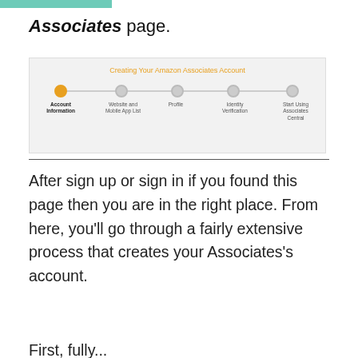Associates page.
[Figure (screenshot): Screenshot showing the Amazon Associates account creation progress bar with 5 steps: Account Information (active/orange), Website and Mobile App List, Profile, Identity Verification, Start Using Associates Central. Title reads 'Creating Your Amazon Associates Account'.]
After sign up or sign in if you found this page then you are in the right place. From here, you’ll go through a fairly extensive process that creates your Associates’s account.
First, fully...